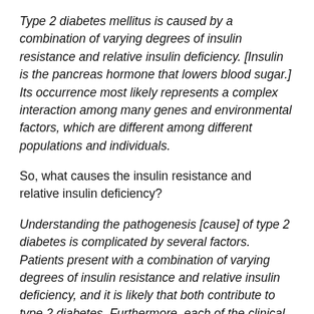Type 2 diabetes mellitus is caused by a combination of varying degrees of insulin resistance and relative insulin deficiency. [Insulin is the pancreas hormone that lowers blood sugar.] Its occurrence most likely represents a complex interaction among many genes and environmental factors, which are different among different populations and individuals.
So, what causes the insulin resistance and relative insulin deficiency?
Understanding the pathogenesis [cause] of type 2 diabetes is complicated by several factors. Patients present with a combination of varying degrees of insulin resistance and relative insulin deficiency, and it is likely that both contribute to type 2 diabetes. Furthermore, each of the clinical features can arise through genetic or